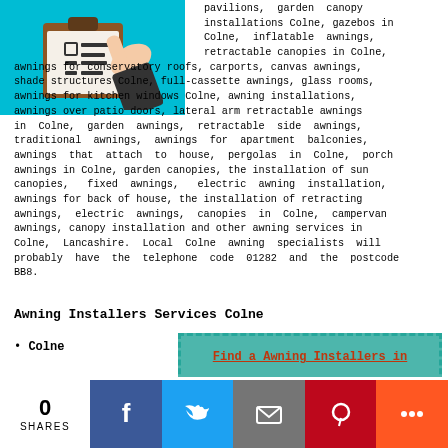[Figure (illustration): Clipboard with checklist illustration on teal/cyan background, hand holding clipboard]
pavilions, garden canopy installations Colne, gazebos in Colne, inflatable awnings, retractable canopies in Colne, awnings for conservatory roofs, carports, canvas awnings, shade structures Colne, full-cassette awnings, glass rooms, awnings for kitchen windows Colne, awning installations, awnings over patio doors, lateral arm retractable awnings in Colne, garden awnings, retractable side awnings, traditional awnings, awnings for apartment balconies, awnings that attach to house, pergolas in Colne, porch awnings in Colne, garden canopies, the installation of sun canopies, fixed awnings, electric awning installation, awnings for back of house, the installation of retracting awnings, electric awnings, canopies in Colne, campervan awnings, canopy installation and other awning services in Colne, Lancashire. Local Colne awning specialists will probably have the telephone code 01282 and the postcode BB8.
Awning Installers Services Colne
Colne
[Figure (other): Find a Awning Installers in — teal button with orange dashed border text]
By using this website you are agreeing
0 SHARES